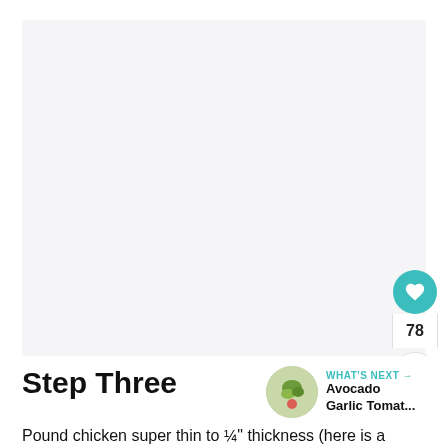[Figure (photo): Large light gray placeholder image area for recipe step three]
[Figure (illustration): Teal circular heart/like button with count 78 and a share button below]
Step Three
[Figure (photo): WHAT'S NEXT card showing Avocado Garlic Tomat... with a circular food thumbnail]
Pound chicken super thin to ¼" thickness (here is a